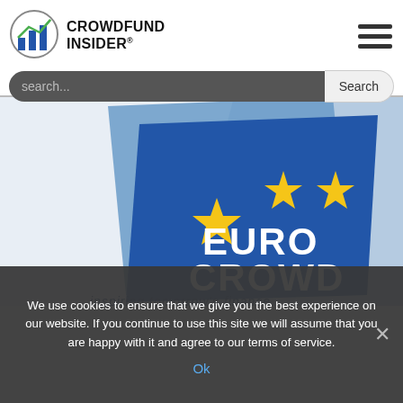CROWDFUND INSIDER
[Figure (screenshot): EuroCrowd logo on layered blue square backgrounds with three gold stars and text 'EURO CROWD inspiring tomorrow's finance']
We use cookies to ensure that we give you the best experience on our website. If you continue to use this site we will assume that you are happy with it and agree to our terms of service.
Ok